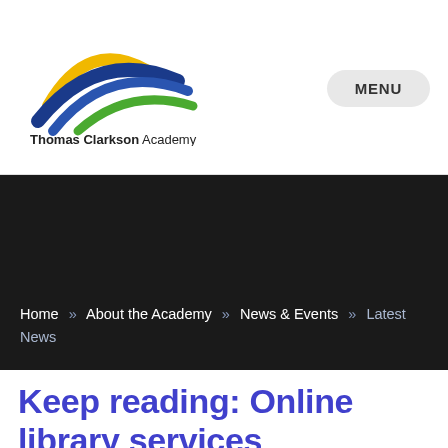[Figure (logo): Thomas Clarkson Academy logo with stylized bird/swoosh in yellow, blue and green colors above the text Thomas Clarkson Academy]
MENU
[Figure (photo): Dark/black banner image background]
Home » About the Academy » News & Events » Latest News
Keep reading: Online library services